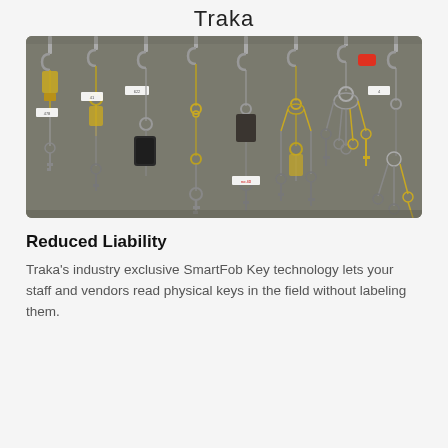Traka
[Figure (photo): A key cabinet panel filled with numerous keys hanging on hooks, many with gold and silver key fobs, labels, and key rings. The cabinet has a metallic gray background.]
Reduced Liability
Traka's industry exclusive SmartFob Key technology lets your staff and vendors read physical keys in the field without labeling them.